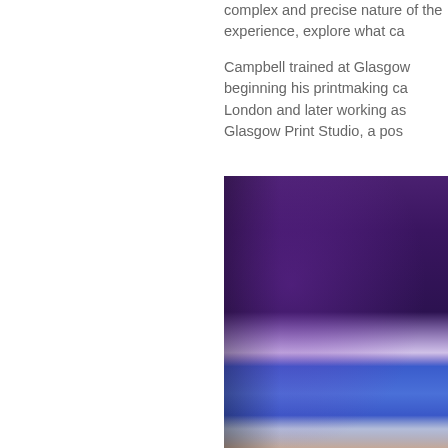complex and precise nature of the experience, explore what ca
Campbell trained at Glasgow beginning his printmaking ca London and later working as Glasgow Print Studio, a pos
[Figure (photo): Abstract photographic image with deep purple and violet gradient tones in the upper portion, transitioning to a bright blue band in the lower middle, and a pinkish-beige tone at the very bottom. The image is cropped and extends beyond the right edge of the visible page area.]